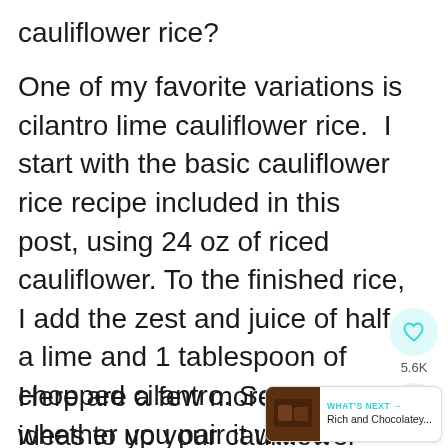cauliflower rice?
One of my favorite variations is cilantro lime cauliflower rice.  I start with the basic cauliflower rice recipe included in this post, using 24 oz of riced cauliflower. To the finished rice, I add the zest and juice of half a lime and 1 tablespoon of chopped cilantro. So yummy, whether you pair it with a Mexican dish or even a Southeast Asian dish!
[Figure (infographic): Like/heart button widget showing 5.6K likes, and a share icon below it]
Here are a few more recipe ideas to up your cauliflower rice:
[Figure (infographic): What's Next widget showing 'Rich and Chocolatey...' with a small food thumbnail image]